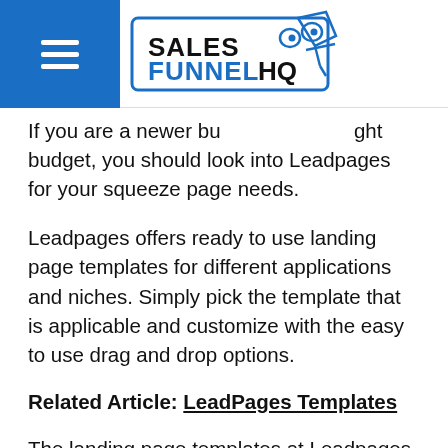Sales Funnel HQ logo and hamburger menu
If you are a newer bu[siness with a t]ight budget, you should look into Leadpages for your squeeze page needs.
Leadpages offers ready to use landing page templates for different applications and niches. Simply pick the template that is applicable and customize with the easy to use drag and drop options.
Related Article: LeadPages Templates
The landing page templates at Leadpages are built with responsiveness and SEO in mind. Stay on the top of search engine results and create fast loading pages that include countdown timers, popups, plug-ins and more to keep your visitors engaged.
Leadpages has a standard plan that will only run you $25 a